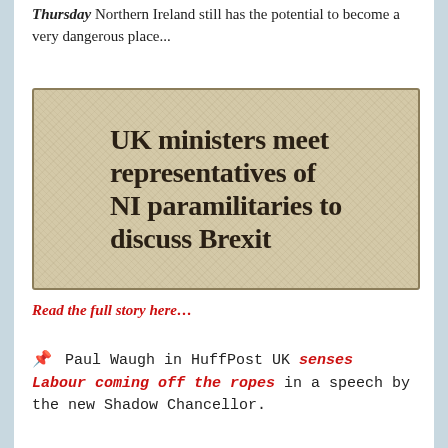THURSDAY Northern Ireland still has the potential to become a very dangerous place...
[Figure (photo): Newspaper headline image reading: UK ministers meet representatives of NI paramilitaries to discuss Brexit]
Read the full story here...
🏷 Paul Waugh in HuffPost UK senses Labour coming off the ropes in a speech by the new Shadow Chancellor.